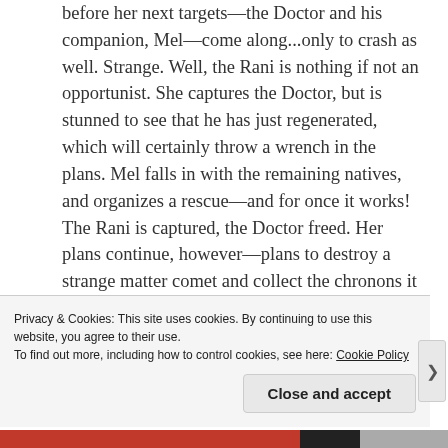before her next targets—the Doctor and his companion, Mel—come along...only to crash as well. Strange. Well, the Rani is nothing if not an opportunist. She captures the Doctor, but is stunned to see that he has just regenerated, which will certainly throw a wrench in the plans. Mel falls in with the remaining natives, and organizes a rescue—and for once it works! The Rani is captured, the Doctor freed. Her plans continue, however—plans to destroy a strange matter comet and collect the chronons it generates, and use them to punch a
Privacy & Cookies: This site uses cookies. By continuing to use this website, you agree to their use.
To find out more, including how to control cookies, see here: Cookie Policy
Close and accept